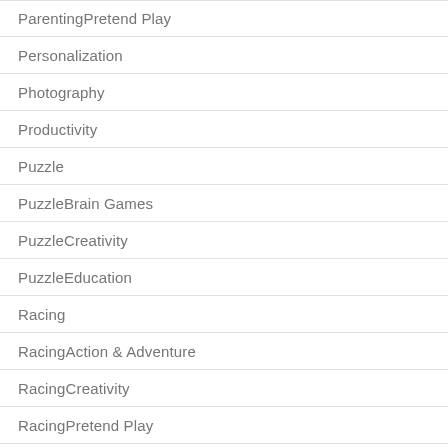ParentingPretend Play
Personalization
Photography
Productivity
Puzzle
PuzzleBrain Games
PuzzleCreativity
PuzzleEducation
Racing
RacingAction & Adventure
RacingCreativity
RacingPretend Play
Role Playing